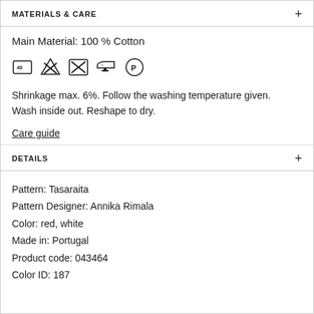MATERIALS & CARE
Main Material: 100 % Cotton
[Figure (illustration): Five laundry care symbols: wash at 40°C, do not bleach (X), do not tumble dry (X in square), iron at low temperature, dry clean (P in circle)]
Shrinkage max. 6%. Follow the washing temperature given. Wash inside out. Reshape to dry.
Care guide
DETAILS
Pattern: Tasaraita
Pattern Designer: Annika Rimala
Color: red, white
Made in: Portugal
Product code: 043464
Color ID: 187